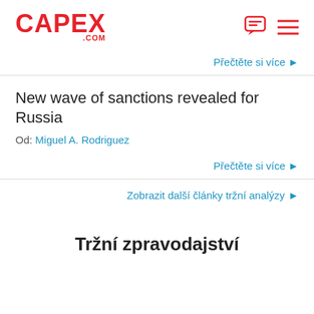CAPEX .COM
Přečtěte si více ▶
New wave of sanctions revealed for Russia
Od: Miguel A. Rodriguez
Přečtěte si více ▶
Zobrazit další články tržní analýzy ▶
Tržní zpravodajství